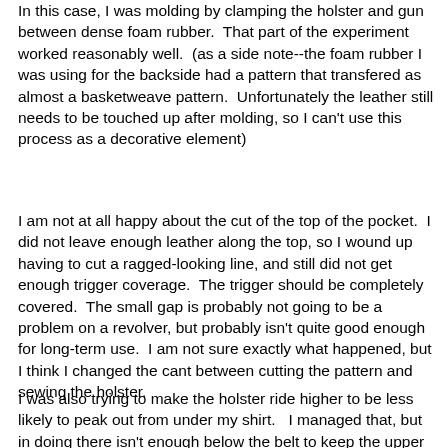In this case, I was molding by clamping the holster and gun between dense foam rubber.  That part of the experiment worked reasonably well.  (as a side note--the foam rubber I was using for the backside had a pattern that transfered as almost a basketweave pattern.  Unfortunately the leather still needs to be touched up after molding, so I can't use this process as a decorative element)
I am not at all happy about the cut of the top of the pocket.  I did not leave enough leather along the top, so I wound up having to cut a ragged-looking line, and still did not get enough trigger coverage.  The trigger should be completely covered.  The small gap is probably not going to be a problem on a revolver, but probably isn't quite good enough for long-term use.  I am not sure exactly what happened, but I think I changed the cant between cutting the pattern and sewing the holster.
I was also trying to make the holster ride higher to be less likely to peak out from under my shirt.   I managed that, but in doing there isn't enough below the belt to keep the upper part tight against the body.  The J frame is small enough that